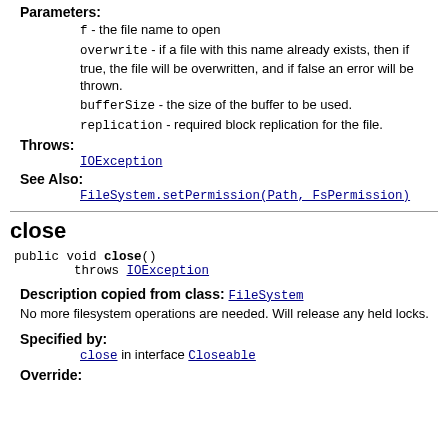f - the file name to open
overwrite - if a file with this name already exists, then if true, the file will be overwritten, and if false an error will be thrown.
bufferSize - the size of the buffer to be used.
replication - required block replication for the file.
Throws:
IOException
See Also:
FileSystem.setPermission(Path, FsPermission)
close
public void close()
        throws IOException
Description copied from class: FileSystem
No more filesystem operations are needed. Will release any held locks.
Specified by:
close in interface Closeable
Override: